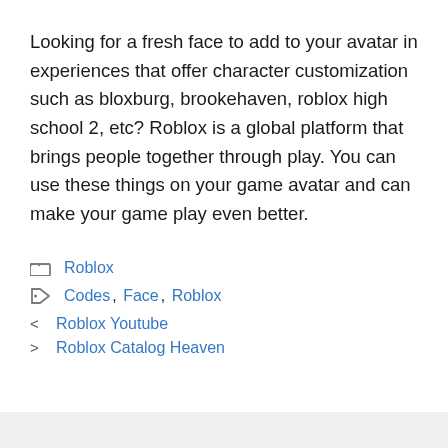Looking for a fresh face to add to your avatar in experiences that offer character customization such as bloxburg, brookehaven, roblox high school 2, etc? Roblox is a global platform that brings people together through play. You can use these things on your game avatar and can make your game play even better.
Roblox (category)
Tags: Codes, Face, Roblox
< Roblox Youtube
> Roblox Catalog Heaven